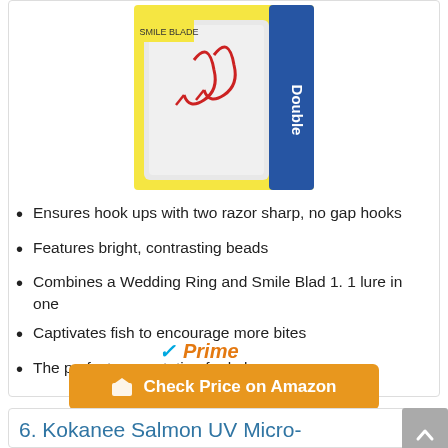[Figure (photo): Product photo of fishing lure package showing hooks, labeled 'Double', with yellow packaging]
Ensures hook ups with two razor sharp, no gap hooks
Features bright, contrasting beads
Combines a Wedding Ring and Smile Blad 1. 1 lure in one
Captivates fish to encourage more bites
The perfect presentation for kokanee
[Figure (logo): Amazon Prime logo with checkmark and italic 'Prime' text in orange and blue]
Check Price on Amazon
6. Kokanee Salmon UV Micro-